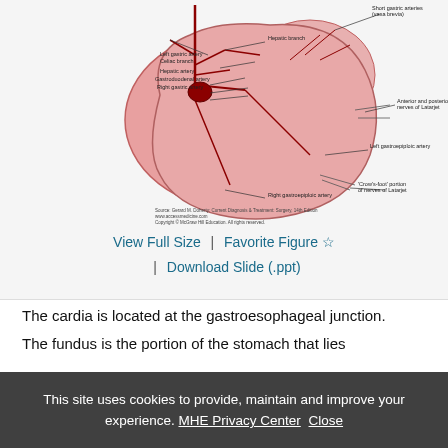[Figure (illustration): Medical illustration of the stomach showing arterial blood supply including hepatic branch, left gastric artery, celiac branch, hepatic artery, gastroduodenal artery, right gastric artery, short gastric arteries (vasa brevia), anterior and posterior nerves of Latarjet, left gastroepiploic artery, crow's-foot portion of nerves of Latarjet, right gastroepiploic artery. Source citation from Gerard M. Doherty Current Diagnosis & Treatment Surgery 14th Edition.]
View Full Size | Favorite Figure ☆ | Download Slide (.ppt)
The cardia is located at the gastroesophageal junction.
The fundus is the portion of the stomach that lies...
This site uses cookies to provide, maintain and improve your experience. MHE Privacy Center Close